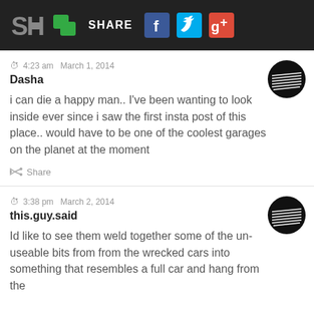SH | SHARE | Facebook | Twitter | Google+
4:23 am  March 1, 2014
Dasha
i can die a happy man.. I've been wanting to look inside ever since i saw the first insta post of this place.. would have to be one of the coolest garages on the planet at the moment
Share
3:38 pm  March 2, 2014
this.guy.said
Id like to see them weld together some of the un-useable bits from from the wrecked cars into something that resembles a full car and hang from the